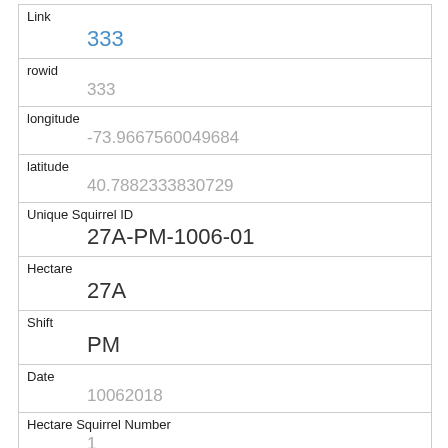| Link | 333 |
| rowid | 333 |
| longitude | -73.9667560049684 |
| latitude | 40.7882333830729 |
| Unique Squirrel ID | 27A-PM-1006-01 |
| Hectare | 27A |
| Shift | PM |
| Date | 10062018 |
| Hectare Squirrel Number | 1 |
| Age | Juvenile |